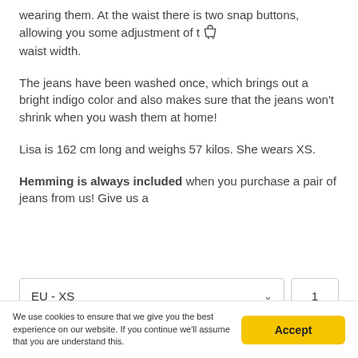wearing them. At the waist there is two snap buttons, allowing you some adjustment of the waist width.
The jeans have been washed once, which brings out a bright indigo color and also makes sure that the jeans won't shrink when you wash them at home!
Lisa is 162 cm long and weighs 57 kilos. She wears XS.
Hemming is always included when you purchase a pair of jeans from us! Give us a
EU - XS  1
We use cookies to ensure that we give you the best experience on our website. If you continue we'll assume that you are understand this.